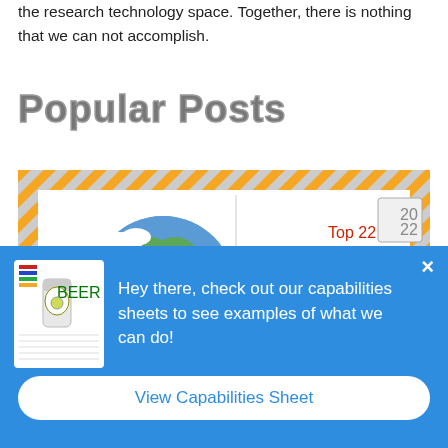the research technology space. Together, there is nothing that we can not accomplish.
Popular Posts
[Figure (illustration): Illustrated banner showing a cartoon superhero pig flying in front of a globe, with text 'Top 22 MARKET Research' and '20 22' badge, styled like a postal envelope with orange and grey diagonal stripe borders]
[Figure (infographic): Blue popup overlay with a thumbnail image of a beer can capabilities sheet on the left, and text 'Hey there, check out our capabilities sheets to see examples of what we can do!' on the right, with a white 'View Capabilities Sheet' button at the bottom and an X close button]